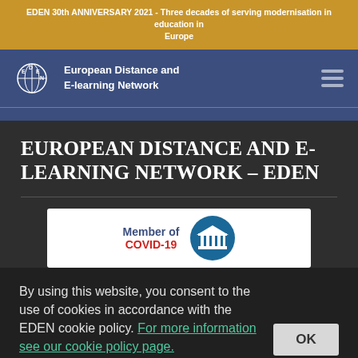EDEN 30th ANNIVERSARY 2021 - Three decades of serving modernisation in education in Europe
[Figure (logo): EDEN logo with globe and columns icon, text: European Distance and E-learning Network]
EUROPEAN DISTANCE AND E-LEARNING NETWORK – EDEN
[Figure (other): Member of COVID-19 badge with UNESCO-style building icon]
By using this website, you consent to the use of cookies in accordance with the EDEN cookie policy. For more information see our cookie policy page.